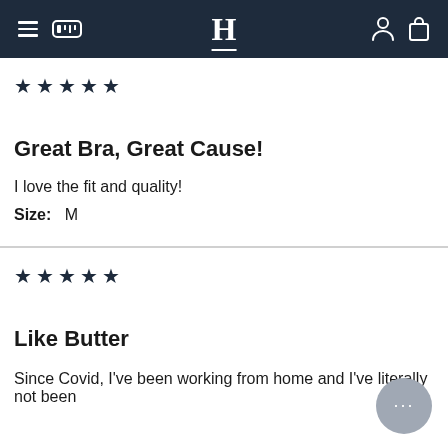H (navigation bar with hamburger menu, tape measure icon, H logo, person icon, bag icon)
★★★★★
Great Bra, Great Cause!
I love the fit and quality!
Size:  M
★★★★★
Like Butter
Since Covid, I've been working from home and I've literally not been